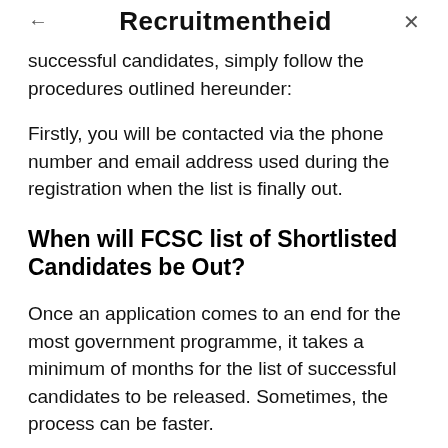Recruitmentheid
successful candidates, simply follow the procedures outlined hereunder:
Firstly, you will be contacted via the phone number and email address used during the registration when the list is finally out.
When will FCSC list of Shortlisted Candidates be Out?
Once an application comes to an end for the most government programme, it takes a minimum of months for the list of successful candidates to be released. Sometimes, the process can be faster.
So, I employ you to expect the list of FCSC SUPER successful candidates any moment